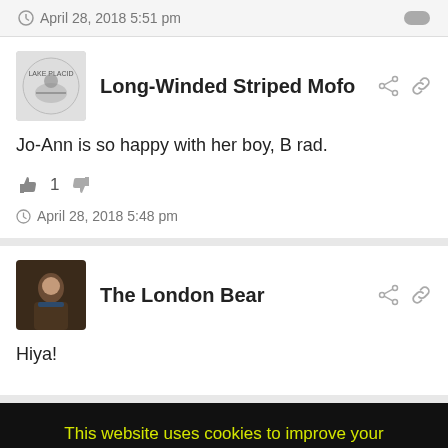April 28, 2018 5:51 pm
Long-Winded Striped Mofo
Jo-Ann is so happy with her boy, B rad.
1
April 28, 2018 5:48 pm
The London Bear
Hiya!
This website uses cookies to improve your experience. We'll assume you're ok with this. Accept Reject Read More